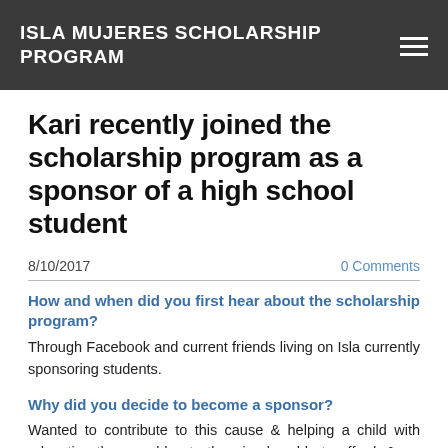ISLA MUJERES SCHOLARSHIP PROGRAM
Kari recently joined the scholarship program as a sponsor of a high school student
8/10/2017
0 Comments
How and when did you first hear about the scholarship program?
Through Facebook and current friends living on Isla currently sponsoring students.
Why did you decide to become a sponsor?
Wanted to contribute to this cause & helping a child with education they would not otherwise be able to afford, & we consider it part of our paying it forward